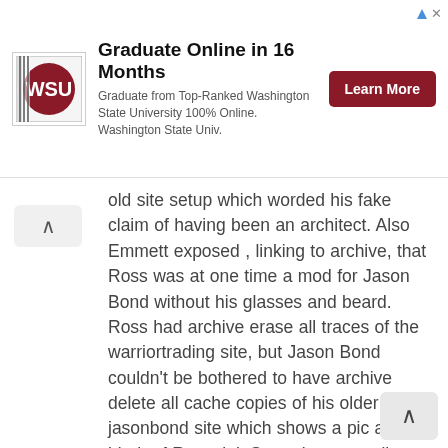[Figure (infographic): Advertisement banner: WSU logo on left, headline 'Graduate Online in 16 Months', subtext 'Graduate from Top-Ranked Washington State University 100% Online. Washington State Univ.', red 'Learn More' button on right, small ad icon in top-right corner.]
old site setup which worded his fake claim of having been an architect. Also Emmett exposed , linking to archive, that Ross was at one time a mod for Jason Bond without his glasses and beard. Ross had archive erase all traces of the warriortrading site, but Jason Bond couldn't be bothered to have archive delete all cache copies of his older jasonbond site which shows a pic and blurb of Ross, lol. So , take away all those dupes following helping his pump'n'dump scheme, all his tricks, and then could he trade his way out of a paper bag to